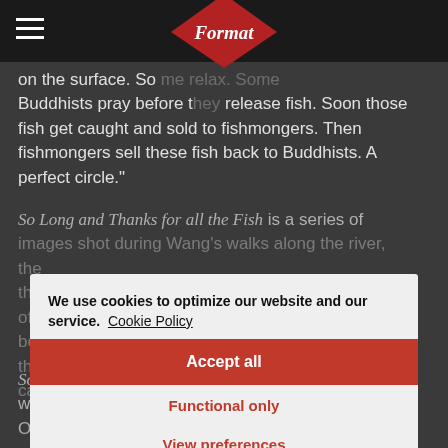Format (logo)
on the surface. So [Format logo] me relax. Some Buddhists pray before t[...] release fish. Soon those fish get caught and sold to fishmongers. Then fishmongers sell these fish back to Buddhists. A perfect circle."
So Long and Thanks for all the Fish is a series of images shot during Wang's walks along the river, [...] the river and catching fish, often with just a fishing net, however the motivation behind the project was not so much to document the local fishing cu[...] to pursue the sense of calm and relaxation that he found along the river.
So Long and Thanks for all the Fish by Tianxi Wang was selected by t[...] en Call Juror – Laura O'Leary, assistant curator at QUAD.
We use cookies to optimize our website and our service.  Cookie Policy
Accept all
Functional only
View preferences